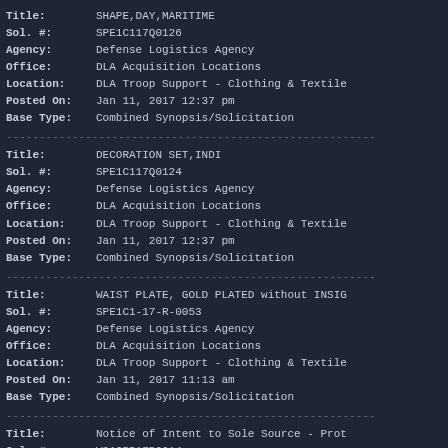Title: SHAPE,DAY,MARITIME
Sol. #: SPE1C117Q0126
Agency: Defense Logistics Agency
Office: DLA Acquisition Locations
Location: DLA Troop Support - Clothing & Textile
Posted On: Jan 11, 2017 12:37 pm
Base Type: Combined Synopsis/Solicitation
Title: DECORATION SET,INDI
Sol. #: SPE1C117Q0124
Agency: Defense Logistics Agency
Office: DLA Acquisition Locations
Location: DLA Troop Support - Clothing & Textile
Posted On: Jan 11, 2017 12:37 pm
Base Type: Combined Synopsis/Solicitation
Title: WAIST PLATE, GOLD PLATED without INSIG
Sol. #: SPE1C1-17-R-0053
Agency: Defense Logistics Agency
Office: DLA Acquisition Locations
Location: DLA Troop Support - Clothing & Textile
Posted On: Jan 11, 2017 11:13 am
Base Type: Combined Synopsis/Solicitation
Title: Notice of Intent to Sole Source - Prot
Sol. #: W91CRB17R0014
Agency: Department of the Army